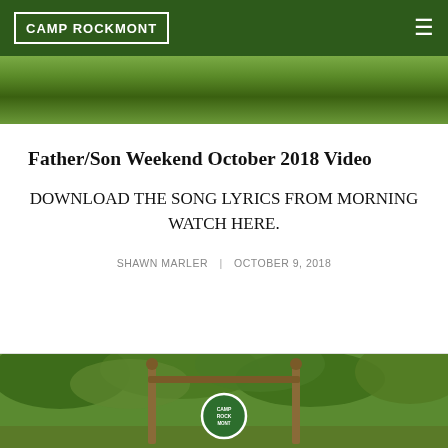CAMP ROCKMONT
[Figure (photo): Outdoor camp scene with green grass and woodpile in background]
Father/Son Weekend October 2018 Video
DOWNLOAD THE SONG LYRICS FROM MORNING WATCH HERE.
SHAWN MARLER | OCTOBER 9, 2018
[Figure (photo): Camp Rockmont entrance sign with wooden frame structure and trees in background]